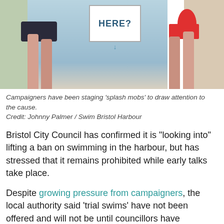[Figure (photo): Photo showing legs of two people near water, with a sign reading 'HERE?' and a blue arrow pointing down, and a red swim buoy on the right.]
Campaigners have been staging 'splash mobs' to draw attention to the cause. Credit: Johnny Palmer / Swim Bristol Harbour
Bristol City Council has confirmed it is "looking into" lifting a ban on swimming in the harbour, but has stressed that it remains prohibited while early talks take place.
Despite growing pressure from campaigners, the local authority said 'trial swims' have not been offered and will not be until councillors have researched the safety measures needed.
There have been more than 70 water related incidents in the city in the past two years, of which 26 have resulted in serious injury or death.